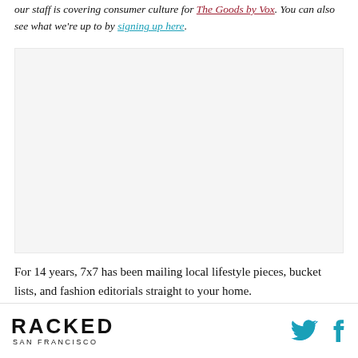our staff is covering consumer culture for The Goods by Vox. You can also see what we're up to by signing up here.
[Figure (photo): Image placeholder — light gray rectangle representing an embedded image or advertisement]
For 14 years, 7x7 has been mailing local lifestyle pieces, bucket lists, and fashion editorials straight to your home.
RACKED SAN FRANCISCO